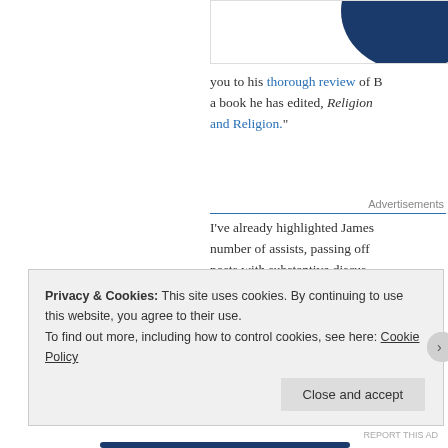[Figure (illustration): Partial image visible in top right corner showing a dark navy/blue curved shape on white background]
you to his thorough review of B a book he has edited, Religion and Religion."
Advertisements
I've already highlighted James number of assists, passing off posts with substantive discus Intertextuality.
Privacy & Cookies: This site uses cookies. By continuing to use this website, you agree to their use. To find out more, including how to control cookies, see here: Cookie Policy
Close and accept